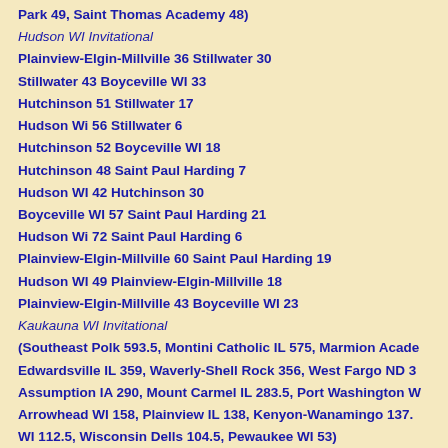Park 49, Saint Thomas Academy 48)
Hudson WI Invitational
Plainview-Elgin-Millville 36 Stillwater 30
Stillwater 43 Boyceville WI 33
Hutchinson 51 Stillwater 17
Hudson Wi 56 Stillwater 6
Hutchinson 52 Boyceville WI 18
Hutchinson 48 Saint Paul Harding 7
Hudson WI 42 Hutchinson 30
Boyceville WI 57 Saint Paul Harding 21
Hudson Wi 72 Saint Paul Harding 6
Plainview-Elgin-Millville 60 Saint Paul Harding 19
Hudson WI 49 Plainview-Elgin-Millville 18
Plainview-Elgin-Millville 43 Boyceville WI 23
Kaukauna WI Invitational
(Southeast Polk 593.5, Montini Catholic IL 575, Marmion Acade
Edwardsville IL 359, Waverly-Shell Rock 356, West Fargo ND 3
Assumption IA 290, Mount Carmel IL 283.5, Port Washington W
Arrowhead WI 158, Plainview IL 138, Kenyon-Wanamingo 137.
WI 112.5, Wisconsin Dells 104.5, Pewaukee WI 53)
LaCrescent Invitational
Dover Eyota 56 LaCrescent 6